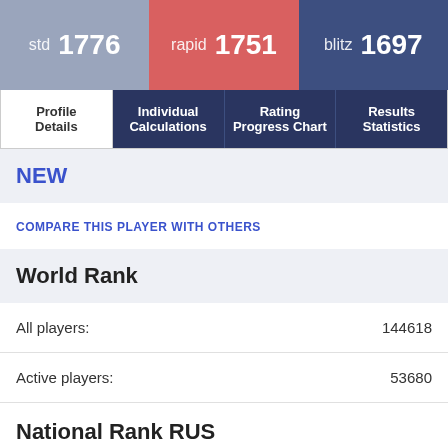std 1776 | rapid 1751 | blitz 1697
Profile Details | Individual Calculations | Rating Progress Chart | Results Statistics
NEW
COMPARE THIS PLAYER WITH OTHERS
World Rank
All players: 144618
Active players: 53680
National Rank RUS